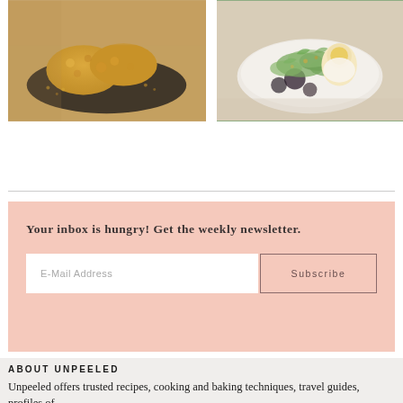[Figure (photo): Photo of fried/breaded food on a dark plate]
[Figure (photo): Photo of a salad with greens and a soft-boiled egg on a white plate]
Your inbox is hungry! Get the weekly newsletter.
E-Mail Address
Subscribe
ABOUT UNPEELED
Unpeeled offers trusted recipes, cooking and baking techniques, travel guides, profiles of